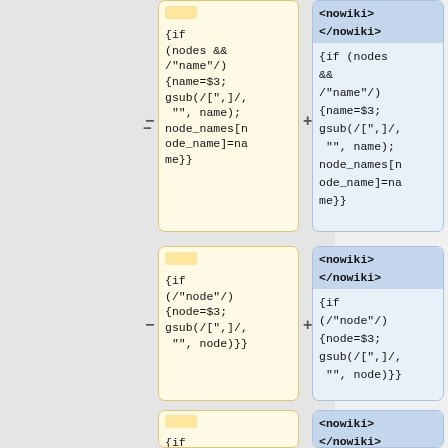[Figure (screenshot): Diff view showing two code blocks side by side. Left (yellow, minus) and right (blue, plus) panels. First row: minus side shows '{if (nodes && /"name"/) {name=$3; gsub(/[",]/, "", name); node_names[node_name]=name}}', plus side shows '<nowiki></nowiki>' header then same code. Second row: minus side shows '{if (/"node"/) {node=$3; gsub(/[",]/, "", node)}}', plus side shows same with nowiki header. Third row (partial): minus/plus with '{if (/"shard"/)...' and nowiki headers.]